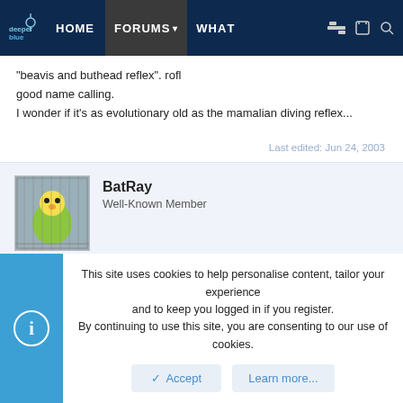deeper blue | HOME | FORUMS | WHAT
"beavis and buthead reflex". rofl
good name calling.
I wonder if it's as evolutionary old as the mamalian diving reflex...
Last edited: Jun 24, 2003
BatRay
Well-Known Member
Jun 26, 2003
#4
This site uses cookies to help personalise content, tailor your experience and to keep you logged in if you register.
By continuing to use this site, you are consenting to our use of cookies.
Accept   Learn more...